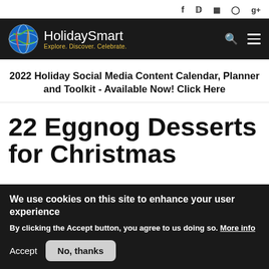f  twitter  instagram  pinterest  g+
[Figure (logo): HolidaySmart logo with globe icon and tagline: Explore. Discover. Celebrate.]
2022 Holiday Social Media Content Calendar, Planner and Toolkit - Available Now! Click Here
22 Eggnog Desserts for Christmas
We use cookies on this site to enhance your user experience
By clicking the Accept button, you agree to us doing so. More info
Accept   No, thanks